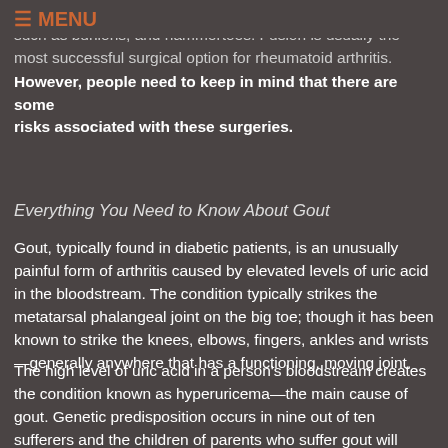≡ MENU
be needed to correct some of the issues with the feet, such as bunions, and hammertoes. Fusion is usually the most successful surgical option for rheumatoid arthritis. However, people need to keep in mind that there are some risks associated with these surgeries.
Everything You Need to Know About Gout
Gout, typically found in diabetic patients, is an unusually painful form of arthritis caused by elevated levels of uric acid in the bloodstream. The condition typically strikes the metatarsal phalangeal joint on the big toe; though it has been known to strike the knees, elbows, fingers, ankles and wrists—generally anywhere that has a functioning, moving joint.
The high level of uric acid in a person's bloodstream creates the condition known as hyperuricema—the main cause of gout. Genetic predisposition occurs in nine out of ten sufferers and the children of parents who suffer gout will have a two in ten chance of developing the condition as well.